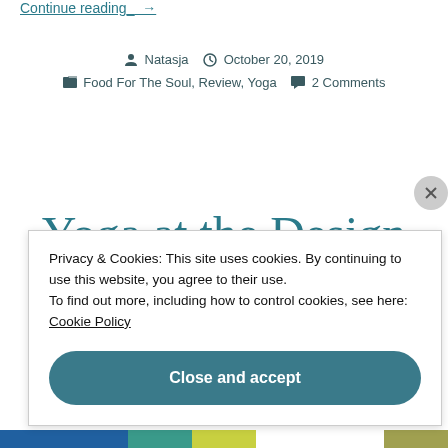Continue reading_ →
Natasja   October 20, 2019
Food For The Soul, Review, Yoga   2 Comments
Yoga at the Design
Privacy & Cookies: This site uses cookies. By continuing to use this website, you agree to their use.
To find out more, including how to control cookies, see here:
Cookie Policy
Close and accept